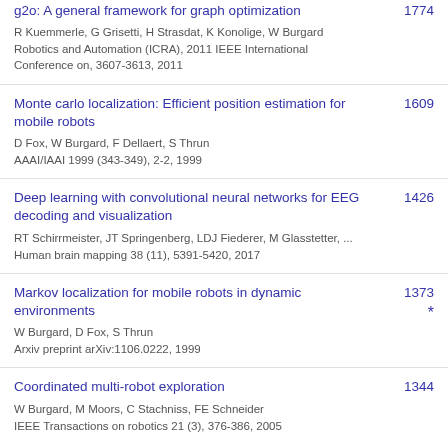g2o: A general framework for graph optimization — R Kuemmerle, G Grisetti, H Strasdat, K Konolige, W Burgard — Robotics and Automation (ICRA), 2011 IEEE International Conference on, 3607-3613, 2011 — 1774
Monte carlo localization: Efficient position estimation for mobile robots — D Fox, W Burgard, F Dellaert, S Thrun — AAAI/IAAI 1999 (343-349), 2-2, 1999 — 1609
Deep learning with convolutional neural networks for EEG decoding and visualization — RT Schirrmeister, JT Springenberg, LDJ Fiederer, M Glasstetter, ... — Human brain mapping 38 (11), 5391-5420, 2017 — 1426
Markov localization for mobile robots in dynamic environments — W Burgard, D Fox, S Thrun — Arxiv preprint arXiv:1106.0222, 1999 — 1373
Coordinated multi-robot exploration — W Burgard, M Moors, C Stachniss, FE Schneider — IEEE Transactions on robotics 21 (3), 376-386, 2005 — 1344